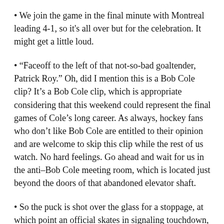We join the game in the final minute with Montreal leading 4-1, so it's all over but for the celebration. It might get a little loud.
“Faceoff to the left of that not-so-bad goaltender, Patrick Roy.” Oh, did I mention this is a Bob Cole clip? It’s a Bob Cole clip, which is appropriate considering that this weekend could represent the final games of Cole’s long career. As always, hockey fans who don’t like Bob Cole are entitled to their opinion and are welcome to skip this clip while the rest of us watch. No hard feelings. Go ahead and wait for us in the anti–Bob Cole meeting room, which is located just beyond the doors of that abandoned elevator shaft.
So the puck is shot over the glass for a stoppage, at which point an official skates in signaling touchdown, because